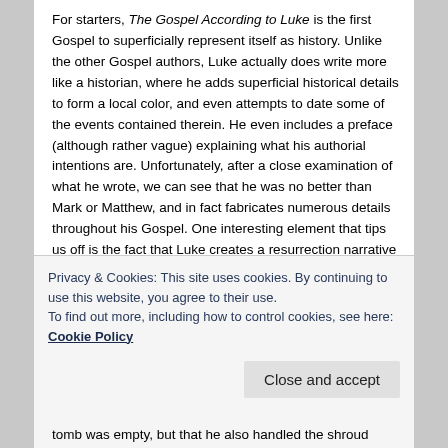For starters, The Gospel According to Luke is the first Gospel to superficially represent itself as history. Unlike the other Gospel authors, Luke actually does write more like a historian, where he adds superficial historical details to form a local color, and even attempts to date some of the events contained therein. He even includes a preface (although rather vague) explaining what his authorial intentions are. Unfortunately, after a close examination of what he wrote, we can see that he was no better than Mark or Matthew, and in fact fabricates numerous details throughout his Gospel. One interesting element that tips us off is the fact that Luke creates a resurrection narrative that is thoroughly designed to answer the skeptics of Matthew's account, employing a tactic that "requires" his
Privacy & Cookies: This site uses cookies. By continuing to use this website, you agree to their use.
To find out more, including how to control cookies, see here: Cookie Policy
tomb was empty, but that he also handled the shroud